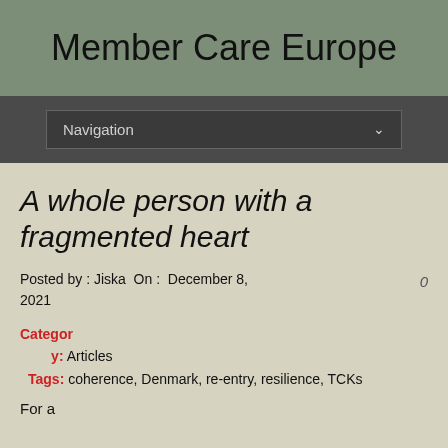Member Care Europe
Navigation
A whole person with a fragmented heart
Posted by : Jiska  On :  December 8, 2021   0
Category: Articles  Tags: coherence, Denmark, re-entry, resilience, TCKs
For a